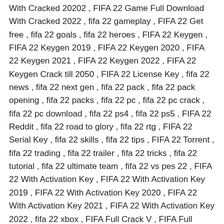With Cracked 20202 , FIFA 22 Game Full Download With Cracked 2022 , fifa 22 gameplay , FIFA 22 Get free , fifa 22 goals , fifa 22 heroes , FIFA 22 Keygen , FIFA 22 Keygen 2019 , FIFA 22 Keygen 2020 , FIFA 22 Keygen 2021 , FIFA 22 Keygen 2022 , FIFA 22 Keygen Crack till 2050 , FIFA 22 License Key , fifa 22 news , fifa 22 next gen , fifa 22 pack , fifa 22 pack opening , fifa 22 packs , fifa 22 pc , fifa 22 pc crack , fifa 22 pc download , fifa 22 ps4 , fifa 22 ps5 , FIFA 22 Reddit , fifa 22 road to glory , fifa 22 rtg , FIFA 22 Serial Key , fifa 22 skills , fifa 22 tips , FIFA 22 Torrent , fifa 22 trading , fifa 22 trailer , fifa 22 tricks , fifa 22 tutorial , fifa 22 ultimate team , fifa 22 vs pes 22 , FIFA 22 With Activation Key , FIFA 22 With Activation Key 2019 , FIFA 22 With Activation Key 2020 , FIFA 22 With Activation Key 2021 , FIFA 22 With Activation Key 2022 , fifa 22 xbox , FIFA Full Crack V , FIFA Full Crack Version , FIFA Full Crack Version 202 , FIFA Full Crack Version 2020 , FIFA Full Crack Version 2021 , FIFA Full Crack Version 20211 , FIFA Full Crack Version 2022 , fut 22 , how to crack fifa 22 , how to download fifa 22 , how to download fifa 22 on pc , how to download fifa 22 pc , How to install 2022 ,